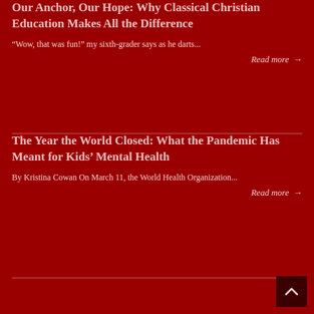Our Anchor, Our Hope: Why Classical Christian Education Makes All the Difference
“Wow, that was fun!” my sixth-grader says as he darts...
Read more →
The Year the World Closed: What the Pandemic Has Meant for Kids’ Mental Health
By Kristina Cowan On March 11, the World Health Organization...
Read more →